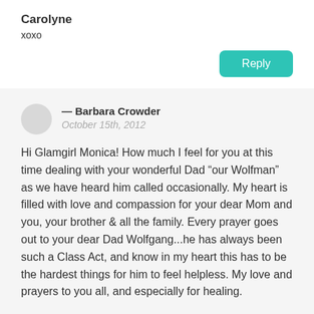Carolyne
xoxo
Reply
— Barbara Crowder
October 15th, 2012
Hi Glamgirl Monica! How much I feel for you at this time dealing with your wonderful Dad “our Wolfman” as we have heard him called occasionally. My heart is filled with love and compassion for your dear Mom and you, your brother & all the family. Every prayer goes out to your dear Dad Wolfgang...he has always been such a Class Act, and know in my heart this has to be the hardest things for him to feel helpless. My love and prayers to you all, and especially for healing.